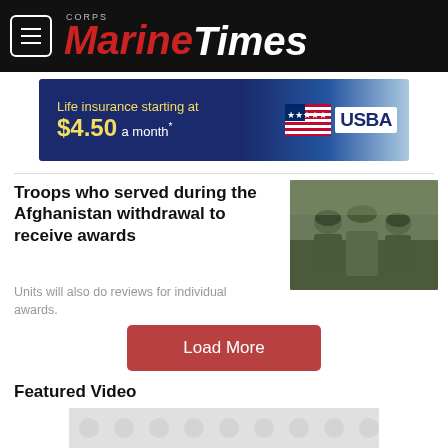Marine Corps Times
[Figure (infographic): USBA advertisement banner: Life insurance starting at $4.50 a month* with US flag and USBA logo]
Troops who served during the Afghanistan withdrawal to receive awards
Units will also do reviews for individual awards.
[Figure (photo): Soldiers in camouflage gear and helmets during Afghanistan withdrawal]
Load More
Featured Video
[Figure (screenshot): Video placeholder with circular pattern dots on light grey background]